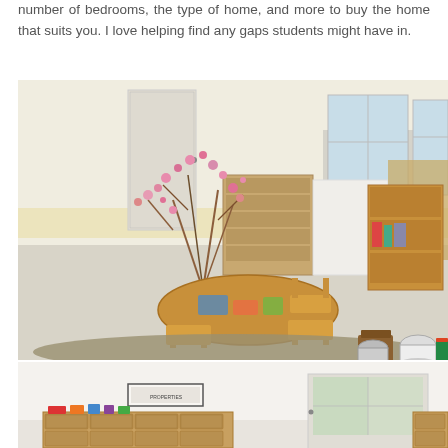number of bedrooms, the type of home, and more to buy the home that suits you. I love helping find any gaps students might have in.
[Figure (photo): Interior of a Montessori-style classroom with wooden children's furniture including a round table with chairs, shelving units along the walls with educational materials, decorative flowering branches on the table, and play materials on a rug in the foreground.]
[Figure (photo): Another view of a classroom or childcare room with white walls, an EXIT sign above a door with windows showing greenery outside, low wooden storage units with wicker basket drawers on both sides, and a framed item on the wall.]